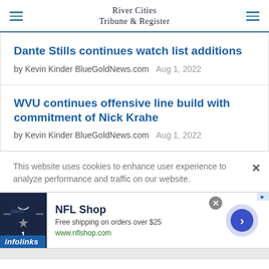River Cities Tribune & Register
Dante Stills continues watch list additions
by Kevin Kinder BlueGoldNews.com   Aug 1, 2022
WVU continues offensive line build with commitment of Nick Krahe
by Kevin Kinder BlueGoldNews.com   Aug 1, 2022
This website uses cookies to enhance user experience to analyze performance and traffic on our website.
[Figure (infographic): NFL Shop advertisement banner with football jersey image, 'Free shipping on orders over $25', and www.nflshop.com link. Infolinks label in bottom left. Close button and navigation arrow visible.]